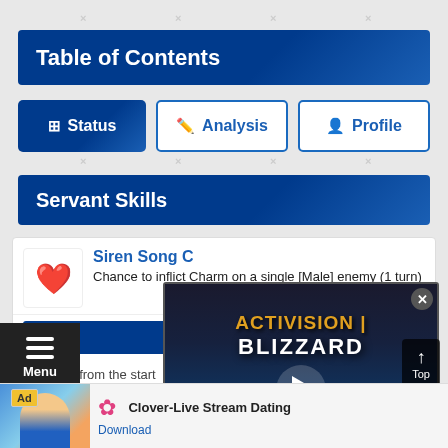Table of Contents
Status
Analysis
Profile
Servant Skills
Siren Song C
Chance to inflict Charm on a single [Male] enemy (1 turn)
Show D
Available from the start
Royal Melody B+
Chance to inflict Charm on a single enemy (1 turn)
[Figure (screenshot): Activision Blizzard video overlay with play button and news ticker]
Clover-Live Stream Dating
Download